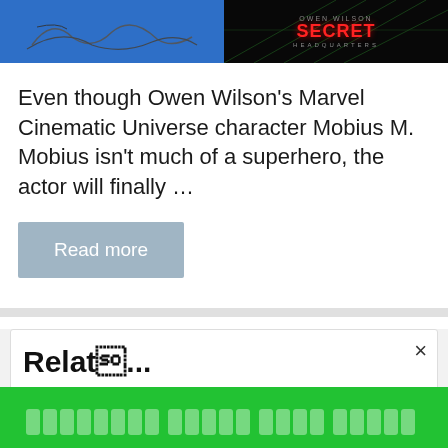[Figure (photo): Two-panel image banner: left half shows a blue background with a handwritten signature/text, right half shows 'Owen Wilson Secret Headquarters' movie title card on dark background with green grid lines]
Even though Owen Wilson's Marvel Cinematic Universe character Mobius M. Mobius isn't much of a superhero, the actor will finally ...
Read more
[Figure (screenshot): Partial modal dialog showing a truncated bold title, with a close (×) button in the top right corner]
Green banner with right-to-left script text (appears to be Hindi/Devanagari characters rendered as block placeholders)